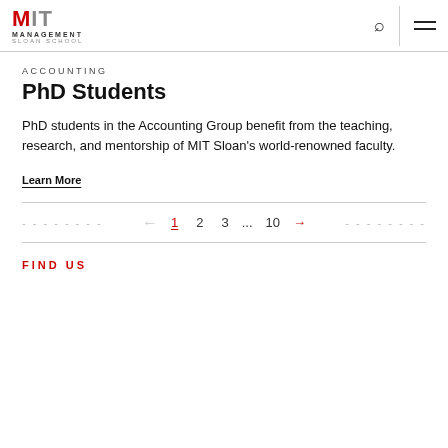MIT MANAGEMENT SLOAN SCHOOL
ACCOUNTING
PhD Students
PhD students in the Accounting Group benefit from the teaching, research, and mentorship of MIT Sloan's world-renowned faculty.
Learn More
1  2  3  ...  10
FIND US